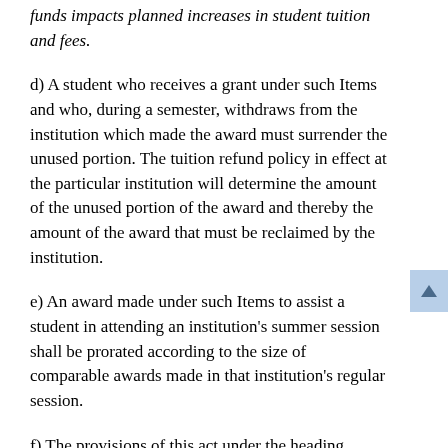funds impacts planned increases in student tuition and fees.
d) A student who receives a grant under such Items and who, during a semester, withdraws from the institution which made the award must surrender the unused portion. The tuition refund policy in effect at the particular institution will determine the amount of the unused portion of the award and thereby the amount of the award that must be reclaimed by the institution.
e) An award made under such Items to assist a student in attending an institution's summer session shall be prorated according to the size of comparable awards made in that institution's regular session.
f) The provisions of this act under the heading